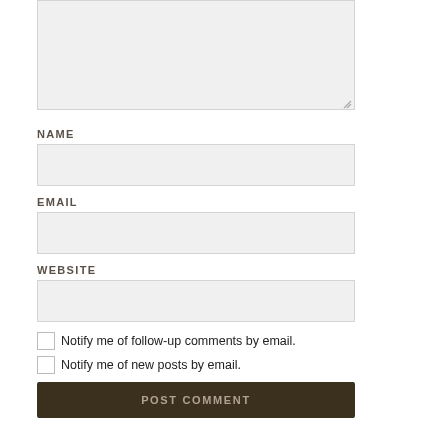[Figure (other): Comment textarea input box with resize handle at bottom right]
NAME
[Figure (other): Name text input field]
EMAIL
[Figure (other): Email text input field]
WEBSITE
[Figure (other): Website text input field]
Notify me of follow-up comments by email.
Notify me of new posts by email.
POST COMMENT